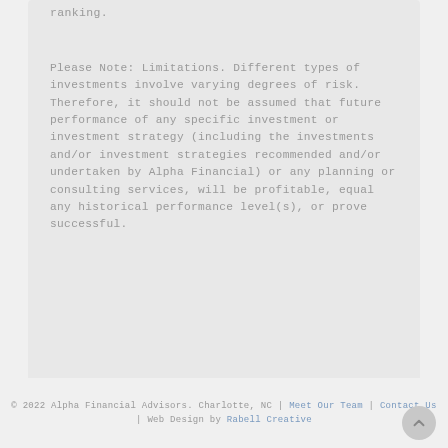ranking.
Please Note: Limitations. Different types of investments involve varying degrees of risk. Therefore, it should not be assumed that future performance of any specific investment or investment strategy (including the investments and/or investment strategies recommended and/or undertaken by Alpha Financial) or any planning or consulting services, will be profitable, equal any historical performance level(s), or prove successful.
© 2022 Alpha Financial Advisors. Charlotte, NC | Meet Our Team | Contact Us | Web Design by Rabell Creative